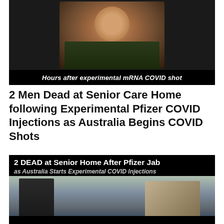[Figure (photo): Photo of a woman smiling, taken hours after experimental mRNA COVID shot. Black background with caption below in italic bold white text.]
Hours after experimental mRNA COVID shot
2 Men Dead at Senior Care Home following Experimental Pfizer COVID Injections as Australia Begins COVID Shots
[Figure (photo): News graphic with black background showing headline '2 DEAD at Senior Home After Pfizer Jab as Australia Starts Experimental COVID Injections' above a photo of an elderly person and another person visible through a window at a senior care facility.]